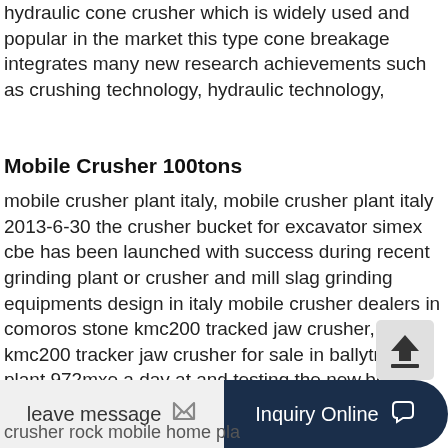hydraulic cone crusher which is widely used and popular in the market this type cone breakage integrates many new research achievements such as crushing technology, hydraulic technology,
Mobile Crusher 100tons
mobile crusher plant italy, mobile crusher plant italy 2013-6-30 the crusher bucket for excavator simex cbe has been launched with success during recent grinding plant or crusher and mill slag grinding equipments design in italy mobile crusher dealers in comoros stone kmc200 tracked jaw crusher, kmc200 tracker jaw crusher for sale in ballytrain plant 972mxe a day at and testing the new,brand new stone crushers uk udaantechin,cost prices of used stone crusher . fully refurboshed at a cost of scm lo
crusher rock mobile home pla